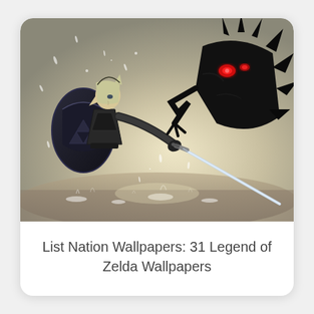[Figure (illustration): Anime-style illustration of a Legend of Zelda battle scene. A hero character in dark armor with a large blue shield on their back wields a sword, facing off against a dark shadowy creature with red glowing eyes and spiky features. The background has a muted beige/grey tone with light streaks and water splashes on the ground.]
List Nation Wallpapers: 31 Legend of Zelda Wallpapers